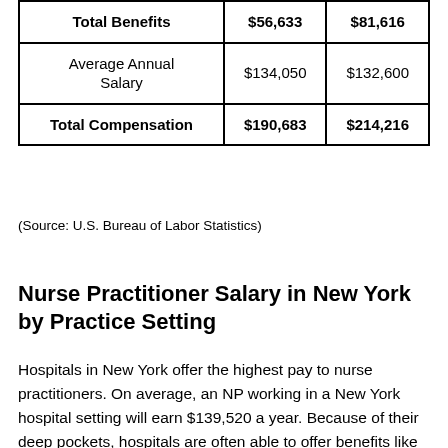|  |  |  |
| --- | --- | --- |
| Total Benefits | $56,633 | $81,616 |
| Average Annual Salary | $134,050 | $132,600 |
| Total Compensation | $190,683 | $214,216 |
(Source: U.S. Bureau of Labor Statistics)
Nurse Practitioner Salary in New York by Practice Setting
Hospitals in New York offer the highest pay to nurse practitioners. On average, an NP working in a New York hospital setting will earn $139,520 a year. Because of their deep pockets, hospitals are often able to offer benefits like tuition reimbursement and relocation subsidies that other employers may not be able to afford to offer. If